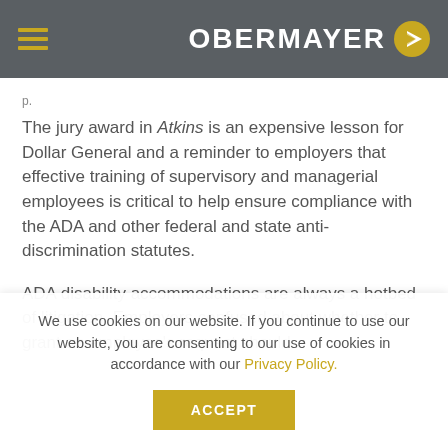OBERMAYER
The jury award in Atkins is an expensive lesson for Dollar General and a reminder to employers that effective training of supervisory and managerial employees is critical to help ensure compliance with the ADA and other federal and state anti-discrimination statutes.
ADA disability accommodations are always a hotbed of litigation. Employers confused about whether to grant an employee's request should
We use cookies on our website. If you continue to use our website, you are consenting to our use of cookies in accordance with our Privacy Policy.